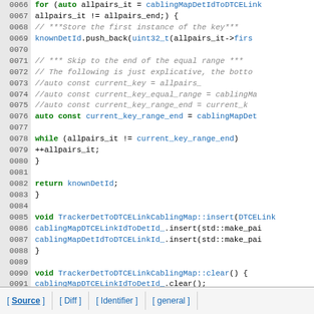[Figure (screenshot): Source code listing in C++ showing lines 0066-0093 of TrackerDetToDTCELinkCablingMap with syntax highlighting. Green bold keywords, blue identifiers, gray italic comments on white background with gray line number gutter.]
[ Source ]   [ Diff ]   [ Identifier ]   [ general ]